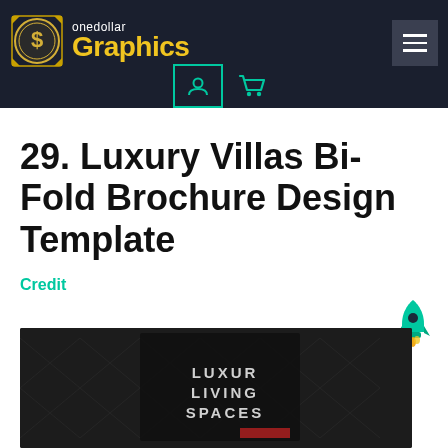onedollar Graphics
29. Luxury Villas Bi-Fold Brochure Design Template
Credit
[Figure (photo): Dark textured brochure mockup showing 'LUXURY LIVING SPACES' text on dark patterned surface]